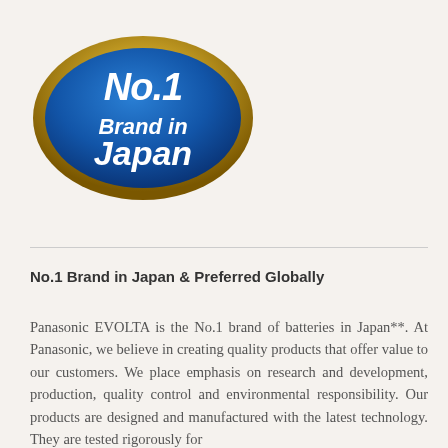[Figure (logo): Blue oval badge with gold border. Text reads 'No.1 Brand in Japan' in white bold italic font.]
No.1 Brand in Japan & Preferred Globally
Panasonic EVOLTA is the No.1 brand of batteries in Japan**. At Panasonic, we believe in creating quality products that offer value to our customers. We place emphasis on research and development, production, quality control and environmental responsibility. Our products are designed and manufactured with the latest technology. They are tested rigorously for